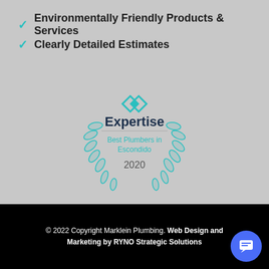Environmentally Friendly Products & Services
Clearly Detailed Estimates
[Figure (logo): Expertise award badge — Best Plumbers in Escondido 2020, with teal laurel wreath and diamond logo]
© 2022 Copyright Marklein Plumbing. Web Design and Marketing by RYNO Strategic Solutions